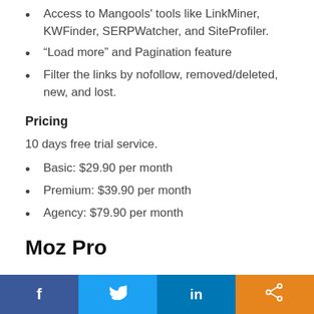Access to Mangools' tools like LinkMiner, KWFinder, SERPWatcher, and SiteProfiler.
“Load more” and Pagination feature
Filter the links by nofollow, removed/deleted, new, and lost.
Pricing
10 days free trial service.
Basic: $29.90 per month
Premium: $39.90 per month
Agency: $79.90 per month
Moz Pro
f  [Twitter bird]  in  [share icon]